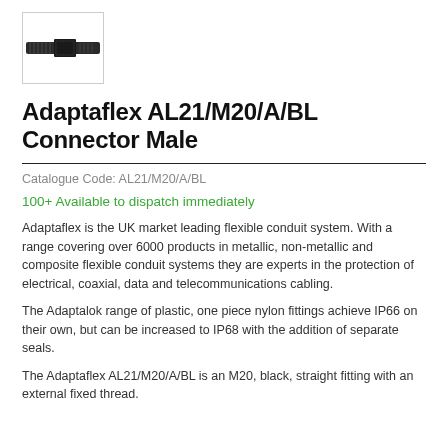[Figure (photo): Product photo of Adaptaflex AL21/M20/A/BL Connector Male — a black threaded conduit fitting shown from the side, displayed in a small bordered box.]
Adaptaflex AL21/M20/A/BL Connector Male
Catalogue Code: AL21/M20/A/BL
100+ Available to dispatch immediately
Adaptaflex is the UK market leading flexible conduit system. With a range covering over 6000 products in metallic, non-metallic and composite flexible conduit systems they are experts in the protection of electrical, coaxial, data and telecommunications cabling.
The Adaptalok range of plastic, one piece nylon fittings achieve IP66 on their own, but can be increased to IP68 with the addition of separate seals.
The Adaptaflex AL21/M20/A/BL is an M20, black, straight fitting with an external fixed thread.